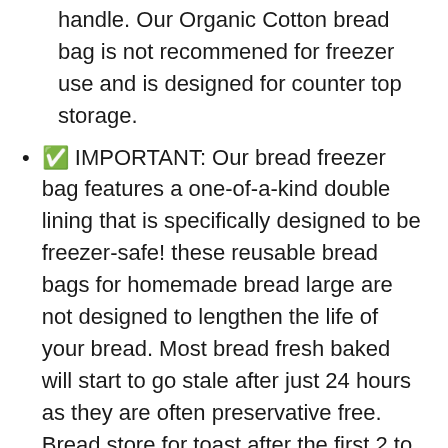handle. Our Organic Cotton bread bag is not recommened for freezer use and is designed for counter top storage.
✅ IMPORTANT: Our bread freezer bag features a one-of-a-kind double lining that is specifically designed to be freezer-safe! these reusable bread bags for homemade bread large are not designed to lengthen the life of your bread. Most bread fresh baked will start to go stale after just 24 hours as they are often preservative free. Bread store for toast after the first 2 to 3 days is all you can really expect from a fresh loaf. Bread can last up to 3